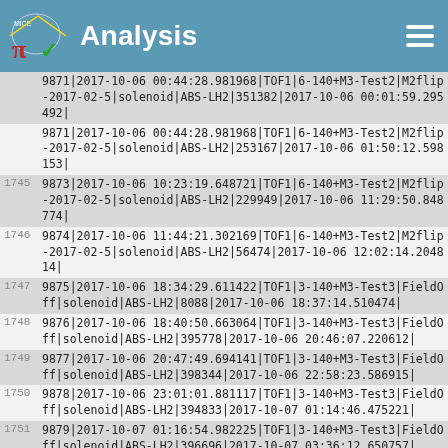Analysis
| row | data |
| --- | --- |
|  | 9871|2017-10-06 00:44:28.981968|TOF1|6-140+M3-Test2|M2flip-2017-02-5|solenoid|ABS-LH2|351382|2017-10-06 00:01:59.295492| |
|  | 9871|2017-10-06 00:44:28.981968|TOF1|6-140+M3-Test2|M2flip-2017-02-5|solenoid|ABS-LH2|253167|2017-10-06 01:50:12.598153| |
| 1745 | 9873|2017-10-06 10:23:19.648721|TOF1|6-140+M3-Test2|M2flip-2017-02-5|solenoid|ABS-LH2|229949|2017-10-06 11:29:50.848774| |
| 1746 | 9874|2017-10-06 11:44:21.302169|TOF1|6-140+M3-Test2|M2flip-2017-02-5|solenoid|ABS-LH2|56474|2017-10-06 12:02:14.204814| |
| 1747 | 9875|2017-10-06 18:34:29.611422|TOF1|3-140+M3-Test3|FieldOff|solenoid|ABS-LH2|8088|2017-10-06 18:37:14.510474| |
| 1748 | 9876|2017-10-06 18:40:50.663064|TOF1|3-140+M3-Test3|FieldOff|solenoid|ABS-LH2|395778|2017-10-06 20:46:07.220612| |
| 1749 | 9877|2017-10-06 20:47:49.694141|TOF1|3-140+M3-Test3|FieldOff|solenoid|ABS-LH2|398344|2017-10-06 22:58:23.586915| |
| 1750 | 9878|2017-10-06 23:01:01.881117|TOF1|3-140+M3-Test3|FieldOff|solenoid|ABS-LH2|394833|2017-10-07 01:14:46.475221| |
| 1751 | 9879|2017-10-07 01:16:54.982225|TOF1|3-140+M3-Test3|FieldOff|solenoid|ABS-LH2|396696|2017-10-07 03:36:12.650757| |
| 1752 | 9880|2017-10-07 03:41:40.138349|TOF1|3-140+M3-Test3|FieldOff|solenoid|ABS-LH2|411141|2017-10-07 |
| 1753 |  |